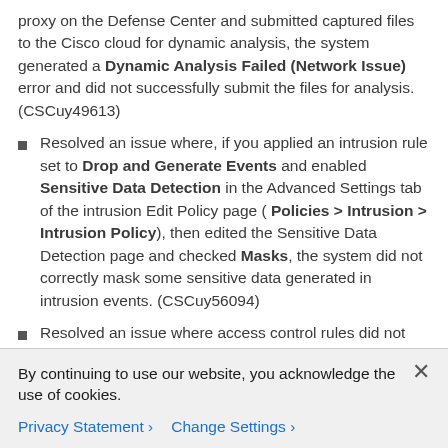proxy on the Defense Center and submitted captured files to the Cisco cloud for dynamic analysis, the system generated a Dynamic Analysis Failed (Network Issue) error and did not successfully submit the files for analysis. (CSCuy49613)
Resolved an issue where, if you applied an intrusion rule set to Drop and Generate Events and enabled Sensitive Data Detection in the Advanced Settings tab of the intrusion Edit Policy page ( Policies > Intrusion > Intrusion Policy), then edited the Sensitive Data Detection page and checked Masks, the system did not correctly mask some sensitive data generated in intrusion events. (CSCuy56094)
Resolved an issue where access control rules did not function correctly for web applications and URLs that were SPDY-enabled. (CSCuy65157)
Resolved an issue where updating a DC750 from Version 5.4 to Version 5.4.1.6 or later failed. (CSCuy72106)
By continuing to use our website, you acknowledge the use of cookies.
Privacy Statement   Change Settings